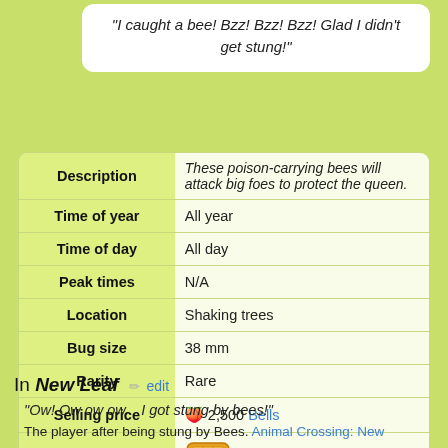"I caught a bee! Bzz! Bzz! Bzz! Glad I didn't get stung!"
|  |  |
| --- | --- |
| Description | These poison-carrying bees will attack big foes to protect the queen. |
| Time of year | All year |
| Time of day | All day |
| Peak times | N/A |
| Location | Shaking trees |
| Bug size | 38 mm |
| Rarity | Rare |
| Selling price | 🍑 2,500 Bells |
| Furniture size | [grid icon] |
In New Leaf
"Ow! Ow ow ow... I got stung by bees!"
The player after being stung by Bees. Animal Crossing: New...